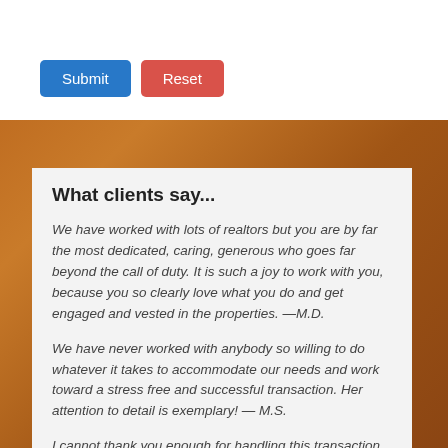[Figure (screenshot): Submit and Reset buttons on white background]
What clients say...
We have worked with lots of realtors but you are by far the most dedicated, caring, generous who goes far beyond the call of duty. It is such a joy to work with you, because you so clearly love what you do and get engaged and vested in the properties. —M.D.
We have never worked with anybody so willing to do whatever it takes to accommodate our needs and work toward a stress free and successful transaction. Her attention to detail is exemplary! — M.S.
I cannot thank you enough for handling this transaction so very well...